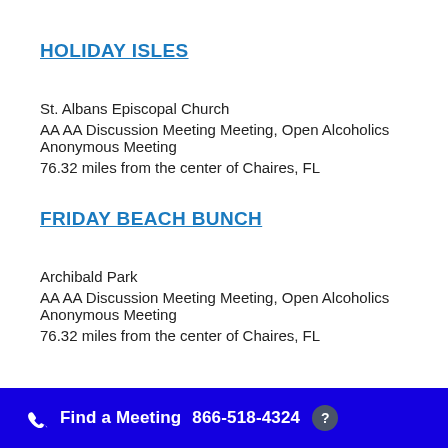HOLIDAY ISLES
St. Albans Episcopal Church
AA AA Discussion Meeting Meeting, Open Alcoholics Anonymous Meeting
76.32 miles from the center of Chaires, FL
FRIDAY BEACH BUNCH
Archibald Park
AA AA Discussion Meeting Meeting, Open Alcoholics Anonymous Meeting
76.32 miles from the center of Chaires, FL
Find a Meeting  866-518-4324